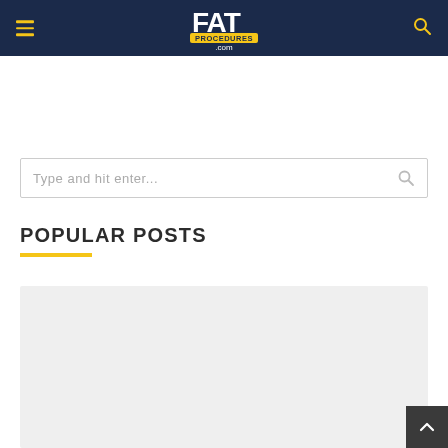FatProcedures.com — site header with hamburger menu, logo, and search icon
[Figure (screenshot): Search input box with placeholder text 'Type and hit enter...' and a search icon on the right]
POPULAR POSTS
[Figure (photo): Light grey placeholder image area for a popular post thumbnail]